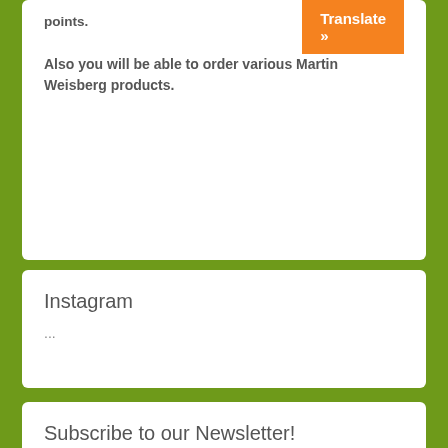points.
Also you will be able to order various Martin Weisberg products.
[Figure (screenshot): Orange 'Translate »' button in top right corner]
Instagram
...
Subscribe to our Newsletter!
First name or full name
Email